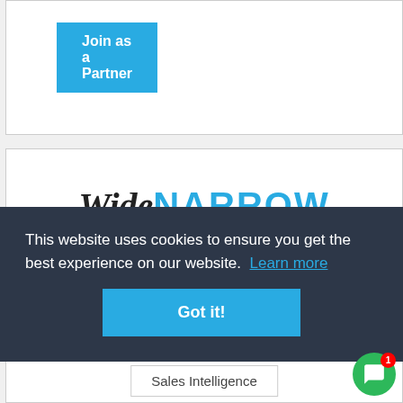Join as a Partner
[Figure (logo): WideNarrow logo with italic serif 'Wide' in dark and bold sans-serif 'NARROW' in blue]
This website uses cookies to ensure you get the best experience on our website. Learn more
Got it!
Sales Intelligence